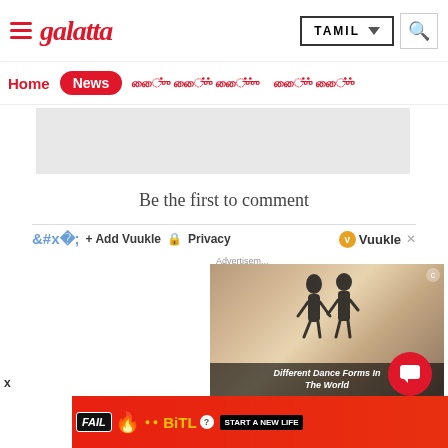Galatta - TAMIL navigation header
Home News [Tamil nav items]
[Figure (screenshot): Grey advertisement placeholder banner]
Be the first to comment
Add Vuukle  Privacy  Vuukle
[Figure (screenshot): Video overlay showing dance couple with caption 'Different Dance Forms In The World']
Advertisement
[Figure (screenshot): Bottom advertisement banner: FAIL - BitLife START A NEW LIFE]